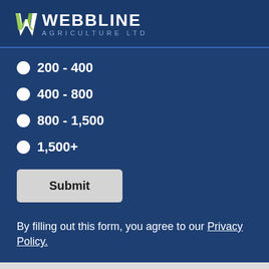[Figure (logo): Webbline Agriculture Ltd logo with stylized W icon in white and green on dark blue background]
200 - 400
400 - 800
800 - 1,500
1,500+
Submit
By filling out this form, you agree to our Privacy Policy.
© 2021 Webbline Agriculture Limited. All rights reserved.